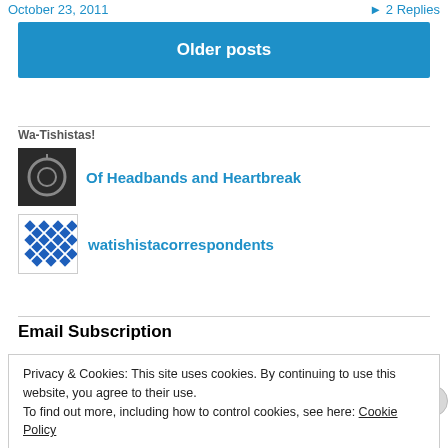October 23, 2011   2 Replies
Older posts
Wa-Tishistas!
Of Headbands and Heartbreak
watishistacorrespondents
Email Subscription
Privacy & Cookies: This site uses cookies. By continuing to use this website, you agree to their use. To find out more, including how to control cookies, see here: Cookie Policy
Close and accept